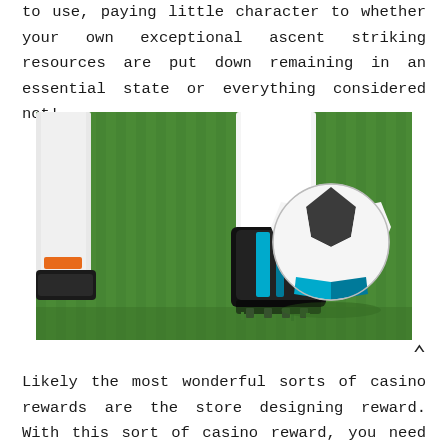to use, paying little character to whether your own exceptional ascent striking resources are put down remaining in an essential state or everything considered not!
[Figure (photo): Close-up photo of a soccer player's feet and legs on a green grass field, with a soccer ball (white with black and blue stripes) being kicked or controlled, and cleats visible.]
Likely the most wonderful sorts of casino rewards are the store designing reward. With this sort of casino reward, you need to really join as a basic money player at the